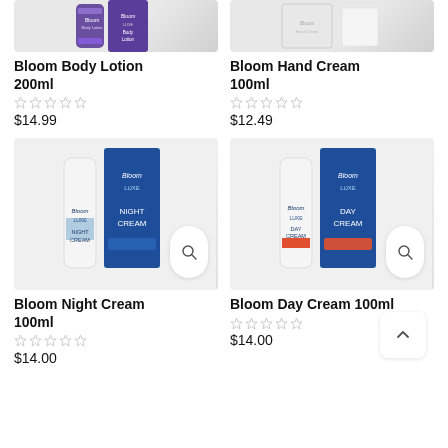[Figure (photo): Bloom Body Lotion 200ml product image - tube and box with purple label]
Bloom Body Lotion 200ml
☆☆☆☆☆
$14.99
[Figure (photo): Bloom Hand Cream 100ml product image - white box packaging]
Bloom Hand Cream 100ml
☆☆☆☆☆
$12.49
[Figure (photo): Bloom Night Cream 100ml - white tube and blue box with Night Cream label]
Bloom Night Cream 100ml
☆☆☆☆☆
$14.00
[Figure (photo): Bloom Day Cream 100ml - white tube with red accent and blue box]
Bloom Day Cream 100ml
☆☆☆☆☆
$14.00